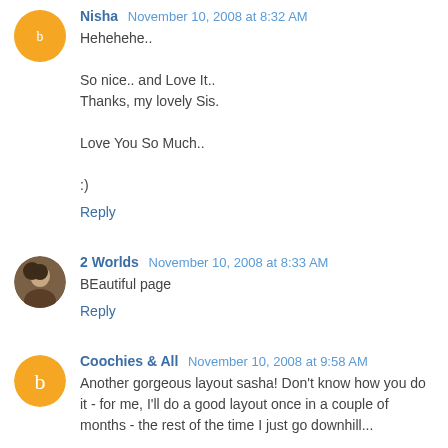Nisha November 10, 2008 at 8:32 AM
Hehehehe..

So nice.. and Love It..
Thanks, my lovely Sis.

Love You So Much..

:)
Reply
2 Worlds November 10, 2008 at 8:33 AM
BEautiful page
Reply
Coochies & All November 10, 2008 at 9:58 AM
Another gorgeous layout sasha! Don't know how you do it - for me, I'll do a good layout once in a couple of months - the rest of the time I just go downhill...